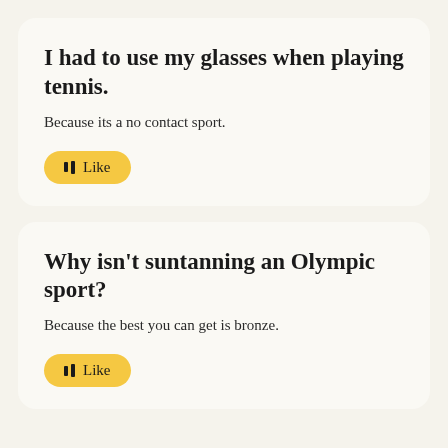I had to use my glasses when playing tennis.
Because its a no contact sport.
Why isn't suntanning an Olympic sport?
Because the best you can get is bronze.